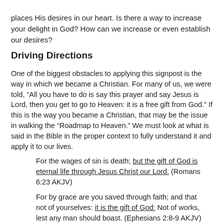places His desires in our heart. Is there a way to increase your delight in God? How can we increase or even establish our desires?
Driving Directions
One of the biggest obstacles to applying this signpost is the way in which we became a Christian. For many of us, we were told, “All you have to do is say this prayer and say Jesus is Lord, then you get to go to Heaven: it is a free gift from God.” If this is the way you became a Christian, that may be the issue in walking the “Roadmap to Heaven.” We must look at what is said in the Bible in the proper context to fully understand it and apply it to our lives.
For the wages of sin is death; but the gift of God is eternal life through Jesus Christ our Lord. (Romans 6:23 AKJV)
For by grace are you saved through faith; and that not of yourselves: it is the gift of God: Not of works, lest any man should boast. (Ephesians 2:8-9 AKJV)
Through Jesus, you receive a life. We must...